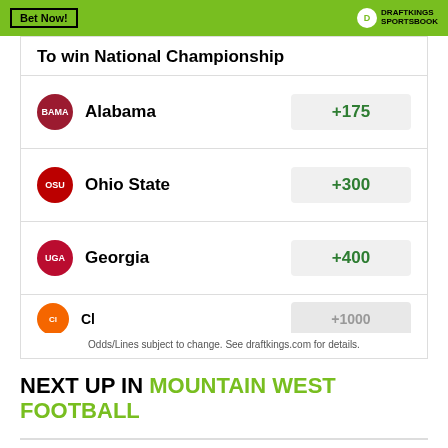[Figure (screenshot): DraftKings Sportsbook widget header with green background, 'Bet Now!' button, and DraftKings Sportsbook logo]
To win National Championship
| Team | Odds |
| --- | --- |
| Alabama | +175 |
| Ohio State | +300 |
| Georgia | +400 |
| Cl... | +1000 |
Odds/Lines subject to change. See draftkings.com for details.
NEXT UP IN MOUNTAIN WEST FOOTBALL
Stats Corner: Power Rankings by Probability
Mountain Bets: A Sports Betting Guide To Week 0